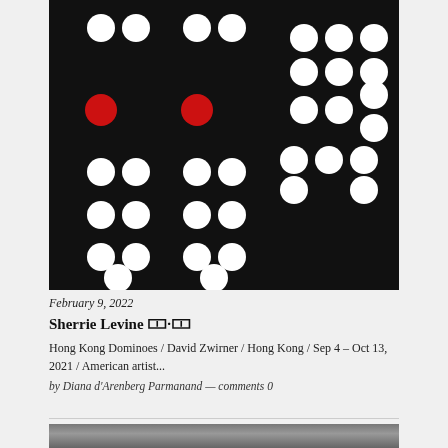[Figure (photo): Artwork photo of domino pieces on black background with white and two red circles, by Sherrie Levine, Hong Kong Dominoes series]
February 9, 2022
Sherrie Levine 🀱·🀱
Hong Kong Dominoes / David Zwirner / Hong Kong / Sep 4 – Oct 13, 2021 / American artist...
by Diana d'Arenberg Parmanand — comments 0
[Figure (photo): Partial black and white photograph at the bottom of the page, partially cropped]